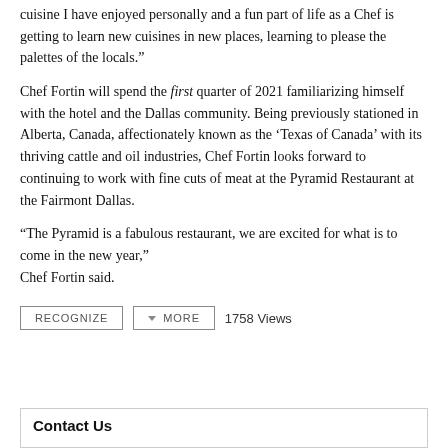cuisine I have enjoyed personally and a fun part of life as a Chef is getting to learn new cuisines in new places, learning to please the palettes of the locals.”
Chef Fortin will spend the first quarter of 2021 familiarizing himself with the hotel and the Dallas community. Being previously stationed in Alberta, Canada, affectionately known as the ‘Texas of Canada’ with its thriving cattle and oil industries, Chef Fortin looks forward to continuing to work with fine cuts of meat at the Pyramid Restaurant at the Fairmont Dallas.
“The Pyramid is a fabulous restaurant, we are excited for what is to come in the new year,”
Chef Fortin said.
RECOGNIZE   ▾ MORE   1758 Views
Contact Us